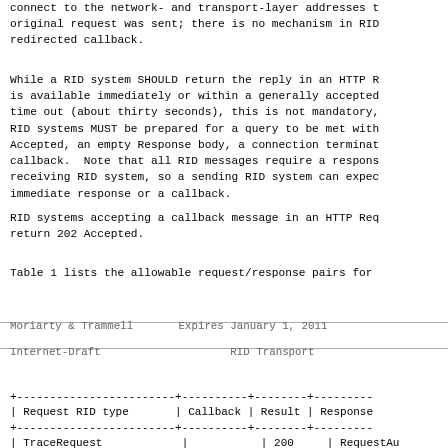connect to the network- and transport-layer addresses to which the original request was sent; there is no mechanism in RID for a redirected callback.
While a RID system SHOULD return the reply in an HTTP Response if it is available immediately or within a generally accepted HTTP time out (about thirty seconds), this is not mandatory, and RID systems MUST be prepared for a query to be met with a 202 Accepted, an empty Response body, a connection termination, or a callback. Note that all RID messages require a response from the receiving RID system, so a sending RID system can expect either an immediate response or a callback.
RID systems accepting a callback message in an HTTP Request MUST return 202 Accepted.
Table 1 lists the allowable request/response pairs for
Moriarty & Trammell        Expires January 1, 2011
Internet-Draft                        RID Transport
| Request RID type | Callback | Result | Response |
| --- | --- | --- | --- |
| TraceRequest |  | 200 | RequestAu |